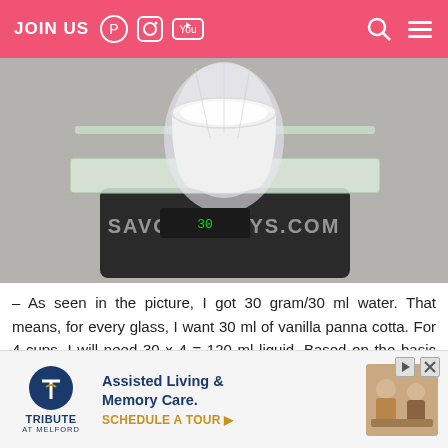JOIN US [Pinterest] [Instagram] [YouTube]  [Search] [Menu]
[Figure (photo): A white ceramic ramekin sitting on a glass plate on a kitchen scale. Watermark text reads SAVOURYDAYS.COM. The scale shows a measurement related to measuring water for panna cotta recipe.]
– As seen in the picture, I got 30 gram/30 ml water. That means, for every glass, I want 30 ml of vanilla panna cotta. For 4 cups, I will need 30 x 4 = 120 ml liquid. Based on the basic panna cotta recipe with % whipping cream, 50% milk, 25 gram gelatin per 1
[Figure (infographic): Advertisement banner for Tribute at Melford Assisted Living & Memory Care. Shows Tribute logo on left, text 'Assisted Living & Memory Care. SCHEDULE A TOUR ▶' in center, and photo of elderly people on right. Ad close button (▶ X) in top right.]